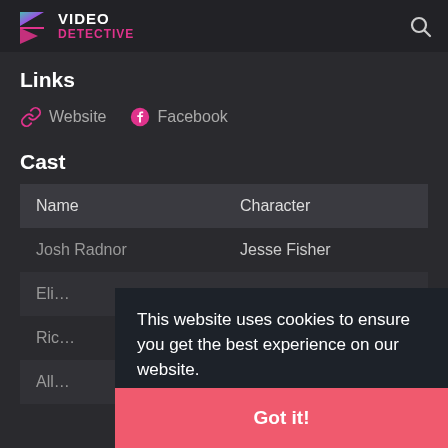VIDEO DETECTIVE
Links
Website  Facebook
Cast
| Name | Character |
| --- | --- |
| Josh Radnor | Jesse Fisher |
| Eli… |  |
| Ric… |  |
| All… | Fun her… |
This website uses cookies to ensure you get the best experience on our website. Learn more
Got it!